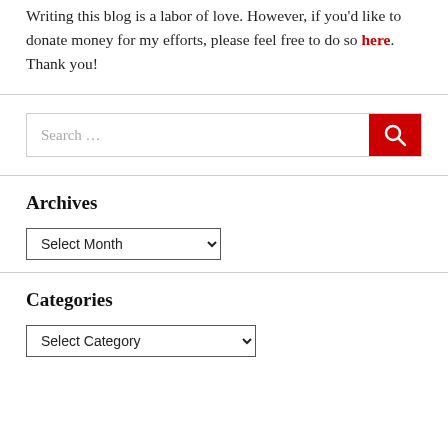Writing this blog is a labor of love. However, if you'd like to donate money for my efforts, please feel free to do so here. Thank you!
[Figure (screenshot): Search bar with text input field reading 'Search …' and a red button with a magnifying glass icon]
Archives
[Figure (screenshot): Dropdown select box reading 'Select Month' with a dropdown arrow]
Categories
[Figure (screenshot): Dropdown select box reading 'Select Category' with a dropdown arrow]